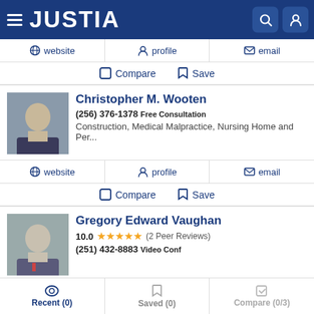JUSTIA
website  profile  email
Compare  Save
Christopher M. Wooten
(256) 376-1378 Free Consultation
Construction, Medical Malpractice, Nursing Home and Per...
website  profile  email
Compare  Save
Gregory Edward Vaughan
10.0 ★★★★★ (2 Peer Reviews)
(251) 432-8883 Video Conf
Recent (0)  Saved (0)  Compare (0/3)